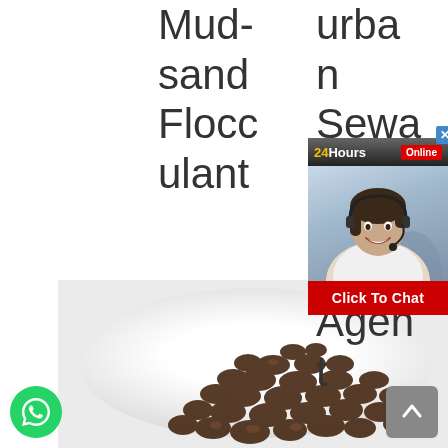Mud-sand Flocculant
Urban Sewage Treatment Agent
Indus try
[Figure (screenshot): Live chat widget with '24Hours Online' header, a customer service representative photo, and a 'Click To Chat' red button]
[Figure (photo): Dark brown pellets/granules piled on a white plate]
[Figure (logo): Green WhatsApp circular button in bottom left]
[Figure (other): Grey scroll-to-top button in bottom right]